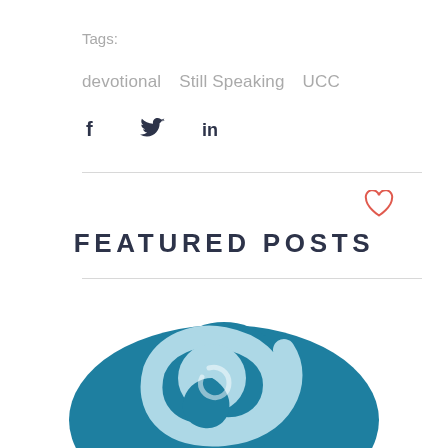Tags:
devotional   Still Speaking   UCC
[Figure (infographic): Social media share icons: Facebook (f), Twitter (bird), LinkedIn (in)]
[Figure (illustration): Heart/like icon outline in coral/red color]
FEATURED POSTS
[Figure (logo): UCC Still Speaking logo: circular teal/blue wave spiral design on white background]